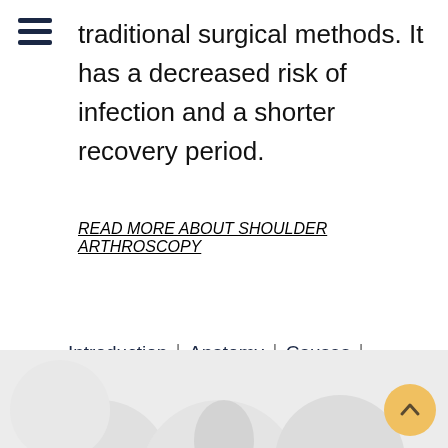☰ (hamburger menu icon)
traditional surgical methods. It has a decreased risk of infection and a shorter recovery period.
READ MORE ABOUT SHOULDER ARTHROSCOPY
Introduction | Anatomy | Causes | Symptoms | Diagnosis | Treatment | Surgery | Recovery | Prevention
[Figure (photo): Partial medical image visible at bottom of page, light gray/white background with circular shapes]